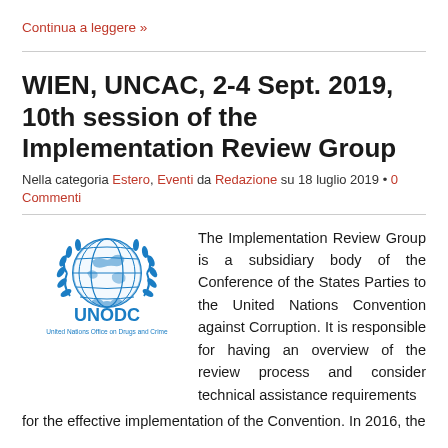Continua a leggere »
WIEN, UNCAC, 2-4 Sept. 2019, 10th session of the Implementation Review Group
Nella categoria Estero, Eventi da Redazione su 18 luglio 2019 • 0 Commenti
[Figure (logo): UNODC - United Nations Office on Drugs and Crime logo with globe and laurel wreath emblem in blue]
The Implementation Review Group is a subsidiary body of the Conference of the States Parties to the United Nations Convention against Corruption. It is responsible for having an overview of the review process and consider technical assistance requirements for the effective implementation of the Convention. In 2016, the